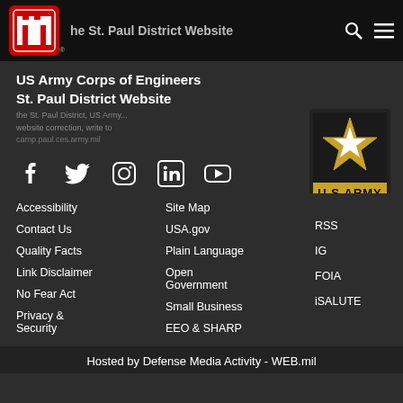he St. Paul District Website
US Army Corps of Engineers
St. Paul District Website
the St. Paul District, US... website correction, write to... camp.paul.ces.army.mil
[Figure (logo): Social media icons: Facebook, Twitter, Instagram, LinkedIn, YouTube]
[Figure (logo): U.S. Army star logo with U.S.ARMY text]
Accessibility
Contact Us
Quality Facts
Link Disclaimer
No Fear Act
Privacy & Security
Site Map
USA.gov
Plain Language
Open Government
Small Business
EEO & SHARP
RSS
IG
FOIA
iSALUTE
Hosted by Defense Media Activity - WEB.mil